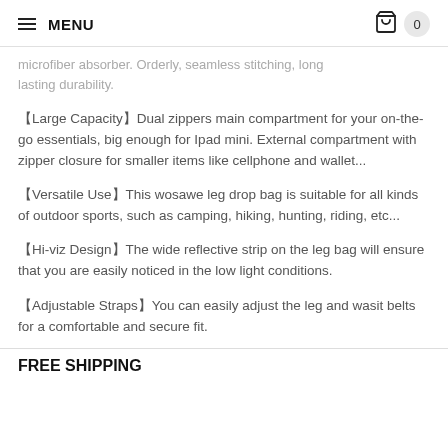MENU | 0
...microfiber absorber. Orderly, seamless stitching, long lasting durability.
【Large Capacity】Dual zippers main compartment for your on-the-go essentials, big enough for Ipad mini. External compartment with zipper closure for smaller items like cellphone and wallet...
【Versatile Use】This wosawe leg drop bag is suitable for all kinds of outdoor sports, such as camping, hiking, hunting, riding, etc...
【Hi-viz Design】The wide reflective strip on the leg bag will ensure that you are easily noticed in the low light conditions.
【Adjustable Straps】You can easily adjust the leg and wasit belts for a comfortable and secure fit.
FREE SHIPPING